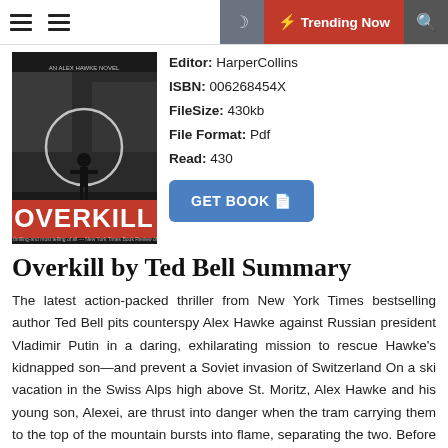Trending Now
[Figure (photo): Book cover of 'Overkill' by Ted Bell, an Alex Hawke Novel. Dark cover with a figure in a snowy landscape and the title 'OVERKILL' in bold red letters.]
Editor: HarperCollins
ISBN: 006268454X
FileSize: 430kb
File Format: Pdf
Read: 430
Overkill by Ted Bell Summary
The latest action-packed thriller from New York Times bestselling author Ted Bell pits counterspy Alex Hawke against Russian president Vladimir Putin in a daring, exhilarating mission to rescue Hawke's kidnapped son—and prevent a Soviet invasion of Switzerland On a ski vacation in the Swiss Alps high above St. Moritz, Alex Hawke and his young son, Alexei, are thrust into danger when the tram carrying them to the top of the mountain bursts into flame, separating the two. Before he can reach Alexei, the boy is snatched from the burning cable car by unknown